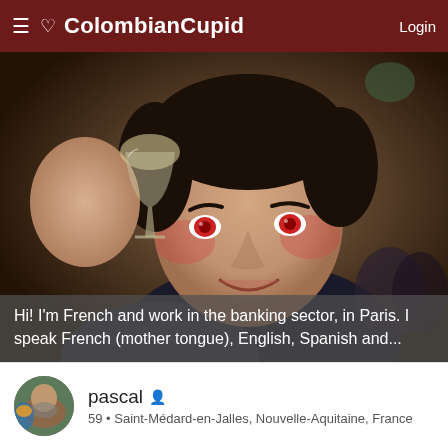ColombianCupid  Login
[Figure (photo): Man holding up a wine glass, smiling at the camera with red-eye effect, at what appears to be a restaurant or bar setting]
Hi! I'm French and work in the banking sector, in Paris. I speak French (mother tongue), English, Spanish and...
pascal  59 • Saint-Médard-en-Jalles, Nouvelle-Aquitaine, France